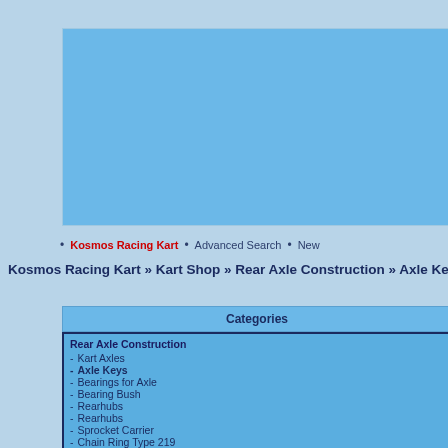[Figure (other): Blue banner advertisement area at top of page]
• Kosmos Racing Kart • Advanced Search • New...
Kosmos Racing Kart » Kart Shop » Rear Axle Construction » Axle Keys » COS...
Categories
Rear Axle Construction
- Kart Axles
- Axle Keys
- Bearings for Axle
- Bearing Bush
- Rearhubs
- Rearhubs
- Sprocket Carrier
- Chain Ring Type 219
- Brake Disks Carrier
- Brake Disks
- Sprocket Pitch 428
Exhaust Accessories
Base Plate
Brake System
Chassis
AXLE KEY SPECIAL (FOR 50MM REAR AXLE)
Product No.: COS.00174
Print product sheet
[Figure (photo): Product image area - beige/tan colored box]
This Product was added to our catalogue o...